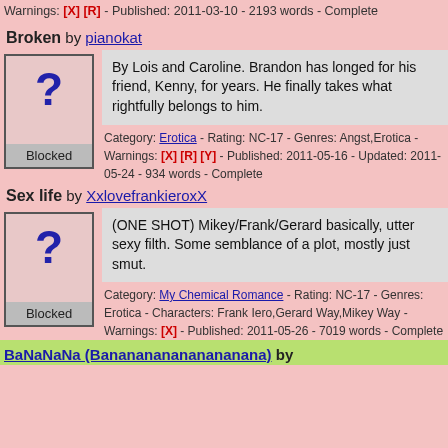Warnings: [X] [R] - Published: 2011-03-10 - 2193 words - Complete
Broken by pianokat
By Lois and Caroline. Brandon has longed for his friend, Kenny, for years. He finally takes what rightfully belongs to him.
Category: Erotica - Rating: NC-17 - Genres: Angst,Erotica - Warnings: [X] [R] [Y] - Published: 2011-05-16 - Updated: 2011-05-24 - 934 words - Complete
Sex life by XxlovefrankieroxX
(ONE SHOT) Mikey/Frank/Gerard basically, utter sexy filth. Some semblance of a plot, mostly just smut.
Category: My Chemical Romance - Rating: NC-17 - Genres: Erotica - Characters: Frank Iero,Gerard Way,Mikey Way - Warnings: [X] - Published: 2011-05-26 - 7019 words - Complete
BaNaNaNa (Bananananananananana) by